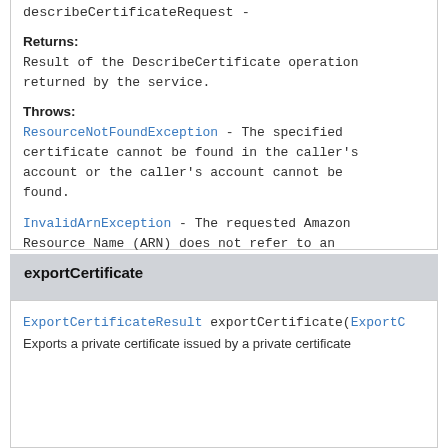describeCertificateRequest -
Returns:
Result of the DescribeCertificate operation returned by the service.
Throws:
ResourceNotFoundException - The specified certificate cannot be found in the caller's account or the caller's account cannot be found.
InvalidArnException - The requested Amazon Resource Name (ARN) does not refer to an existing resource.
See Also:
AWS API Documentation
exportCertificate
ExportCertificateResult exportCertificate(ExportC
Exports a private certificate issued by a private certificate